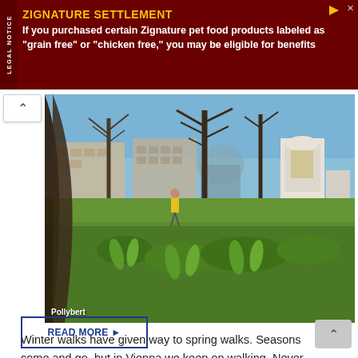[Figure (infographic): Advertisement banner: ZIGNATURE SETTLEMENT - If you purchased certain Zignature pet food products labeled as 'grain free' or 'chicken free,' you may be eligible for benefits. Dark red background with yellow title and white body text. 'LEGAL NOTICE' written vertically on left side.]
[Figure (photo): Outdoor park scene in Vienna. Green grass and trees in the foreground with spring vegetation (tulips/green shoots). A white monument/statue is visible in the background right. A person in a yellow jacket is visible in the middle distance. Blue sky with bare deciduous trees. Credit: Pollybert]
Winter walks have given way to spring walks. Seasons come and go, but in Vienna we keep on walking. Never…
READ MORE ▶